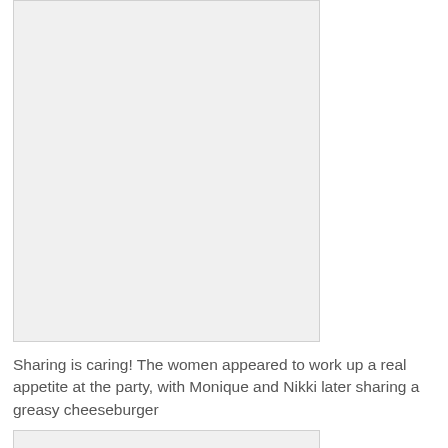[Figure (photo): Photograph placeholder — white/light grey rectangle representing a photo of women at a party]
Sharing is caring! The women appeared to work up a real appetite at the party, with Monique and Nikki later sharing a greasy cheeseburger
[Figure (photo): Second photograph placeholder — partial white/light grey rectangle at bottom of page]